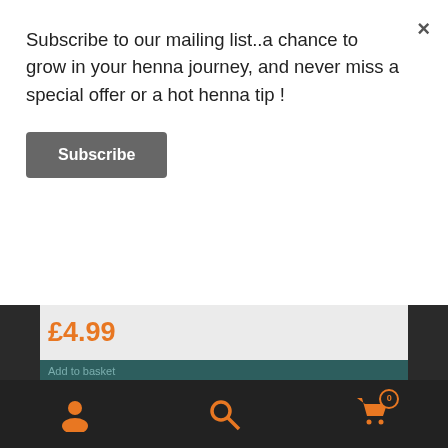Subscribe to our mailing list..a chance to grow in your henna journey, and never miss a special offer or a hot henna tip !
Subscribe
£4.99
ⓘ 10 % off when you sign up to the Newsletter ! Enter your e mail address in the sign up link towards the bottom of this page & remember to click the opt in link in the confirmation e mail (check junk mail).
Dismiss
Compare